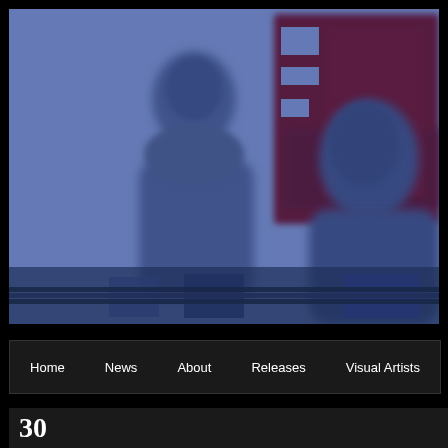[Figure (photo): A blurry blue-toned photograph showing two figures (appearing to be women) with a large red text sign partially visible in the background showing letters 'EB' or similar. The image has a heavy blue/purple color cast overlay.]
Home | News | About | Releases | Visual Artists
30